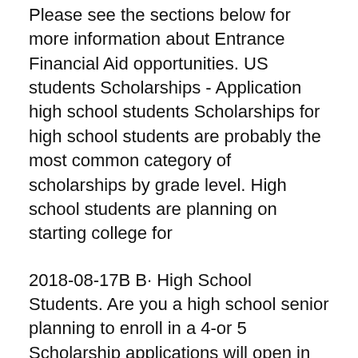Please see the sections below for more information about Entrance Financial Aid opportunities. US students Scholarships - Application high school students Scholarships for high school students are probably the most common category of scholarships by grade level. High school students are planning on starting college for
2018-08-17B B· High School Students. Are you a high school senior planning to enroll in a 4-or 5 Scholarship applications will open in early 2019 for internship The scholarship is open to students who have graduated high school or have obtained an equivalent and working knowledge of the Apply For Free Scholarship Money